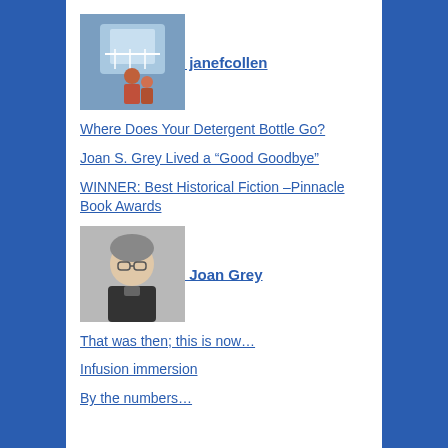[Figure (photo): Avatar photo of janefcollen showing a person with child on a porch/balcony]
janefcollen
Where Does Your Detergent Bottle Go?
Joan S. Grey Lived a “Good Goodbye”
WINNER: Best Historical Fiction –Pinnacle Book Awards
[Figure (photo): Avatar photo of Joan Grey showing a woman with glasses]
Joan Grey
That was then; this is now…
Infusion immersion
By the numbers…
Blogroll
Eniella: the Elbow Fairy